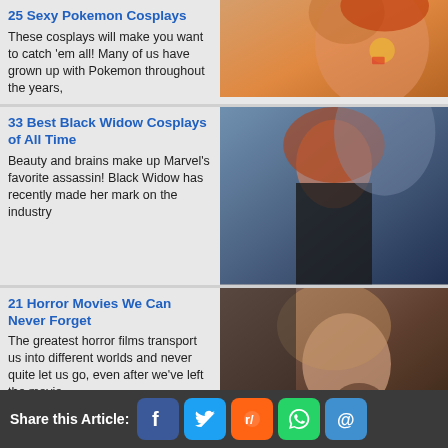25 Sexy Pokemon Cosplays — These cosplays will make you want to catch 'em all! Many of us have grown up with Pokemon throughout the years,
33 Best Black Widow Cosplays of All Time — Beauty and brains make up Marvel's favorite assassin! Black Widow has recently made her mark on the industry
21 Horror Movies We Can Never Forget — The greatest horror films transport us into different worlds and never quite let us go, even after we've left the movie
Ironman vs Thor: Here's Who Would Win — Pretty Boy vs. Pretty Boy, which one will prove
Share this Article: